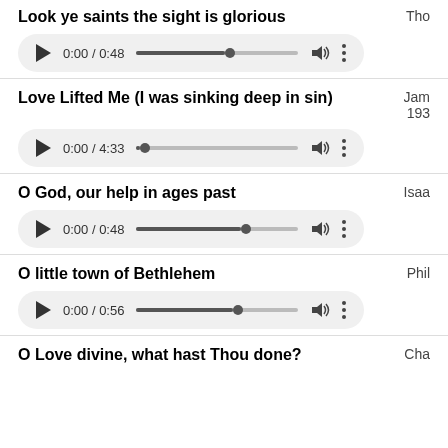Look ye saints the sight is glorious
[Figure (screenshot): Audio player showing 0:00 / 0:48 with play button, progress bar, volume and menu icons]
Love Lifted Me (I was sinking deep in sin)
Jam 193
[Figure (screenshot): Audio player showing 0:00 / 4:33 with play button, progress bar, volume and menu icons]
O God, our help in ages past
Isaa
[Figure (screenshot): Audio player showing 0:00 / 0:48 with play button, progress bar, volume and menu icons]
O little town of Bethlehem
Phil
[Figure (screenshot): Audio player showing 0:00 / 0:56 with play button, progress bar, volume and menu icons]
O Love divine, what hast Thou done?
Cha